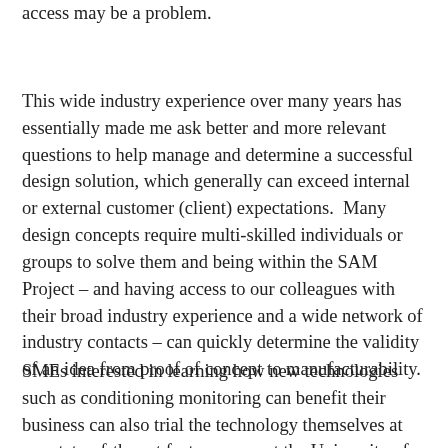access may be a problem.
This wide industry experience over many years has essentially made me ask better and more relevant questions to help manage and determine a successful design solution, which generally can exceed internal or external customer (client) expectations.  Many design concepts require multi-skilled individuals or groups to solve them and being within the SAM Project – and having access to our colleagues with their broad industry experience and a wide network of industry contacts – can quickly determine the validity of an idea from proof of concept to manufacturability.
SMEs interested in learning how new technologies such as conditioning monitoring can benefit their business can also trial the technology themselves at our state-of-the-art factory areas at the University of